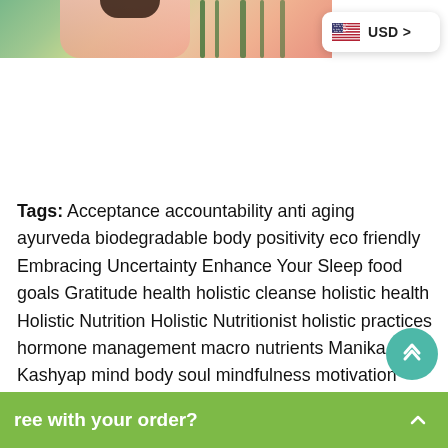[Figure (photo): Top portion of a photo showing a person in a pink outfit among bamboo or green plants, partially visible at the top of the page]
[Figure (screenshot): USD currency selector button with US flag icon in top right corner]
Tags: Acceptance accountability anti aging ayurveda biodegradable body positivity eco friendly Embracing Uncertainty Enhance Your Sleep food goals Gratitude health holistic cleanse holistic health Holistic Nutrition Holistic Nutritionist holistic practices hormone management macro nutrients Manika Kashyap mind body soul mindfulness motivation natural cleanse natural detox nutrition personal growth plan plant based realistic plans Recharge Renewed Restock Help Self Compassion self ...aining sustainability
[Figure (other): Teal circular scroll-to-top button with upward chevron arrows]
ree with your order?